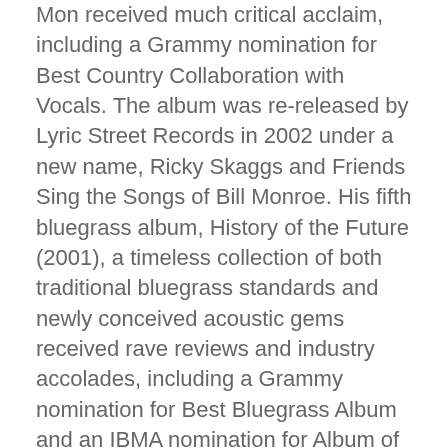Mon received much critical acclaim, including a Grammy nomination for Best Country Collaboration with Vocals. The album was re-released by Lyric Street Records in 2002 under a new name, Ricky Skaggs and Friends Sing the Songs of Bill Monroe. His fifth bluegrass album, History of the Future (2001), a timeless collection of both traditional bluegrass standards and newly conceived acoustic gems received rave reviews and industry accolades, including a Grammy nomination for Best Bluegrass Album and an IBMA nomination for Album of the Year, once again placing Skaggs among the leading innovators in the genre.
Skaggs' first all-live album with Kentucky Thunder, Live at the Charleston Music Hall (2003), led to an IBMA Award for Instrumental Group of the Year - an award Skaggs and Kentucky Thunder has taken home 8 times in the last decade. The decision to record a live album was an obvious one for Skaggs. From a string of high-profile tour dates with the Dixie